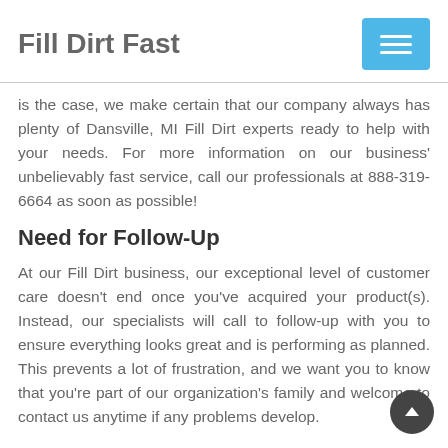Fill Dirt Fast
is the case, we make certain that our company always has plenty of Dansville, MI Fill Dirt experts ready to help with your needs. For more information on our business' unbelievably fast service, call our professionals at 888-319-6664 as soon as possible!
Need for Follow-Up
At our Fill Dirt business, our exceptional level of customer care doesn't end once you've acquired your product(s). Instead, our specialists will call to follow-up with you to ensure everything looks great and is performing as planned. This prevents a lot of frustration, and we want you to know that you're part of our organization's family and welcome to contact us anytime if any problems develop.